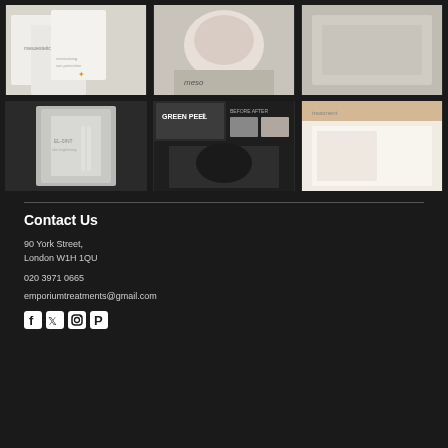[Figure (photo): Grid of 6 product/treatment photos - mesoestetic products, spa treatment, before/after skin peel, cosmetic product boxes]
Contact Us
90 York Street,
London W1H 1QU
020 3971 0665
emporiumtreatments@gmail.com
[Figure (illustration): Social media icons: Facebook, Twitter, Instagram, Pinterest]